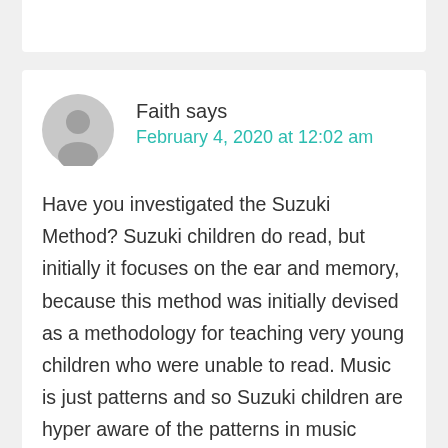Faith says
February 4, 2020 at 12:02 am
Have you investigated the Suzuki Method? Suzuki children do read, but initially it focuses on the ear and memory, because this method was initially devised as a methodology for teaching very young children who were unable to read. Music is just patterns and so Suzuki children are hyper aware of the patterns in music construction. They also do a lot of listening to the